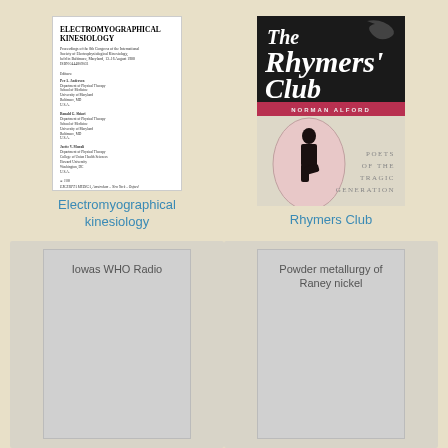[Figure (illustration): Book cover of Electromyographical Kinesiology — white cover with bold title text and editor/publisher information]
Electromyographical kinesiology
[Figure (illustration): Book cover of The Rhymers Club — dark/black background with stylized title text, red bar, silhouette figure in oval, decorative pattern]
Rhymers Club
[Figure (illustration): Placeholder gray book cover for Iowas WHO Radio]
Iowas WHO Radio
[Figure (illustration): Placeholder gray book cover for Powder metallurgy of Raney nickel]
Powder metallurgy of Raney nickel